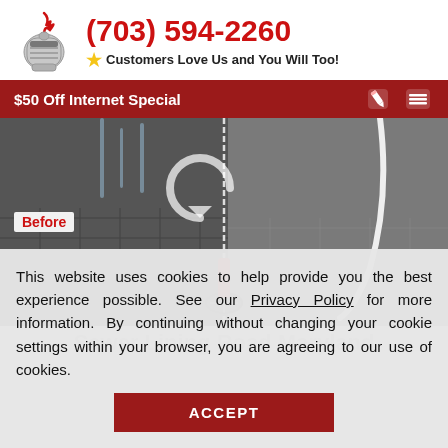(703) 594-2260 — Customers Love Us and You Will Too!
$50 Off Internet Special
[Figure (photo): Before and after photo of a shower drain area, with 'Before' label on the left side and a cleaning brush visible]
This website uses cookies to help provide you the best experience possible. See our Privacy Policy for more information. By continuing without changing your cookie settings within your browser, you are agreeing to our use of cookies.
ACCEPT